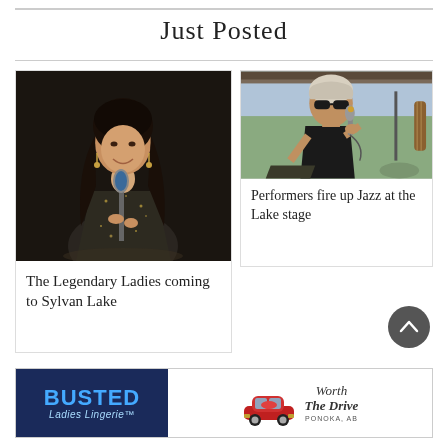Just Posted
[Figure (photo): Woman with long dark hair singing into a vintage microphone, wearing a sparkly dark dress, on a dark stage]
The Legendary Ladies coming to Sylvan Lake
[Figure (photo): Older woman with grey hair and sunglasses singing into a microphone outdoors on a stage, wearing a black outfit, with a guitarist visible behind her]
Performers fire up Jazz at the Lake stage
[Figure (other): Advertisement banner: Busted Ladies Lingerie on the left (blue background) and Worth The Drive Ponoka on the right with a red classic car image]